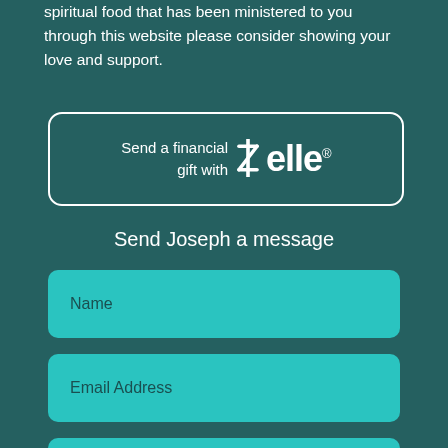spiritual food that has been ministered to you through this website please consider showing your love and support.
[Figure (logo): Zelle payment button with rounded rectangle border, text 'Send a financial gift with Zelle' and Zelle logo]
Send Joseph a message
Name
Email Address
Message